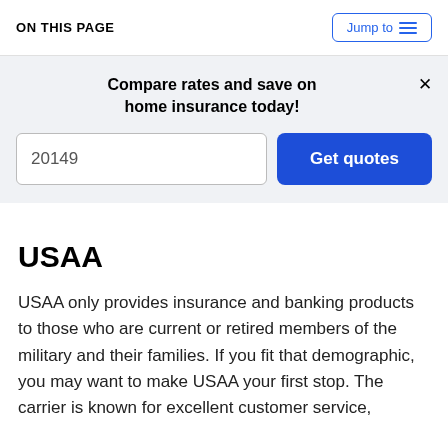ON THIS PAGE | Jump to
Compare rates and save on home insurance today!
20149
Get quotes
USAA
USAA only provides insurance and banking products to those who are current or retired members of the military and their families. If you fit that demographic, you may want to make USAA your first stop. The carrier is known for excellent customer service,